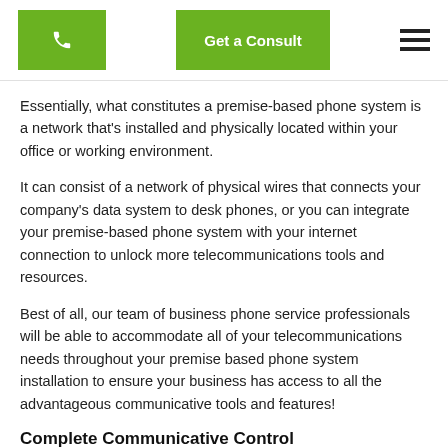[Phone button] Get a Consult [Menu]
Essentially, what constitutes a premise-based phone system is a network that's installed and physically located within your office or working environment.
It can consist of a network of physical wires that connects your company's data system to desk phones, or you can integrate your premise-based phone system with your internet connection to unlock more telecommunications tools and resources.
Best of all, our team of business phone service professionals will be able to accommodate all of your telecommunications needs throughout your premise based phone system installation to ensure your business has access to all the advantageous communicative tools and features!
Complete Communicative Control
The primary communicative advantage premise-based phone